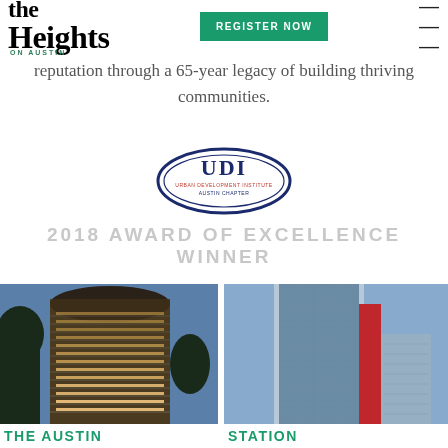the Heights ON AUSTIN | REGISTER NOW
reputation through a 65-year legacy of building thriving communities.
[Figure (logo): UDI oval logo with text Urban Development Institute]
2018 AWARD OF EXCELLENCE WINNER
[Figure (photo): THE AUSTIN - tall residential tower photographed at dusk with warm glowing windows and balconies]
THE AUSTIN
[Figure (photo): STATION - modern high-rise building with blue glass and red accent facade against blue sky]
STATION